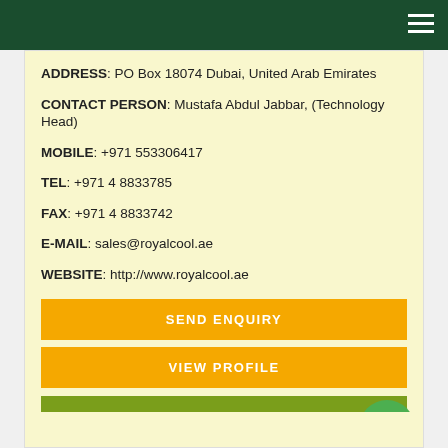ADDRESS: PO Box 18074 Dubai, United Arab Emirates
CONTACT PERSON: Mustafa Abdul Jabbar, (Technology Head)
MOBILE: +971 553306417
TEL: +971 4 8833785
FAX: +971 4 8833742
E-MAIL: sales@royalcool.ae
WEBSITE: http://www.royalcool.ae
SEND ENQUIRY
VIEW PROFILE
VIEW BRANDS